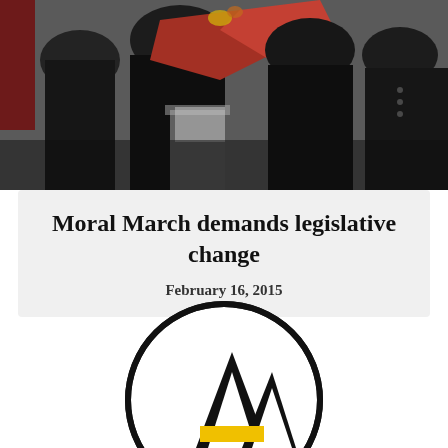[Figure (photo): Outdoor protest or march scene with people in dark clothing and red garments, one person at a podium or lectern, flags visible in background]
Moral March demands legislative change
February 16, 2015
[Figure (logo): Circular logo with two black mountain/triangle shapes and a yellow horizontal bar at the base, resembling the letter A, inside a black circle outline]